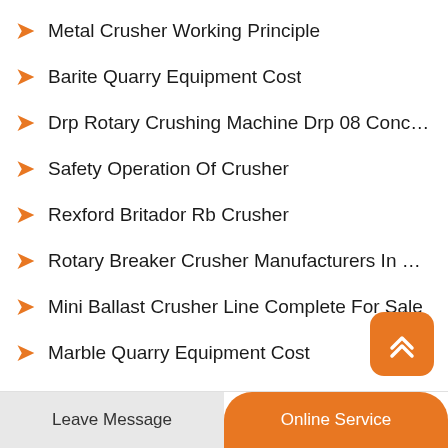Metal Crusher Working Principle
Barite Quarry Equipment Cost
Drp Rotary Crushing Machine Drp 08 Concept
Safety Operation Of Crusher
Rexford Britador Rb Crusher
Rotary Breaker Crusher Manufacturers In Cape Ve...
Mini Ballast Crusher Line Complete For Sale
Marble Quarry Equipment Cost
Mini Crushing Mini Crushing Manufacturers
Leave Message
Online Service